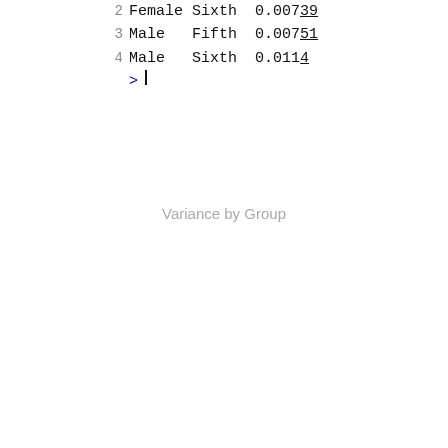2 Female Sixth 0.00739
3 Male   Fifth 0.00751
4 Male   Sixth 0.0114
> |
Variance by Group